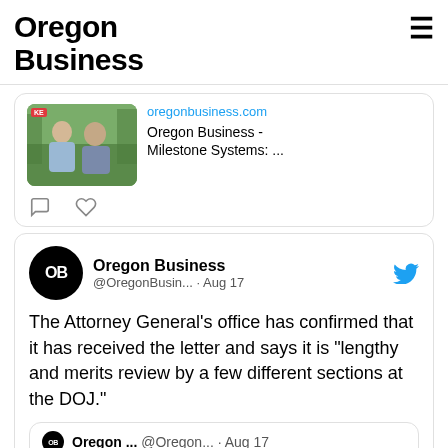Oregon Business
[Figure (screenshot): Partial tweet card with photo of two men outdoors, link preview to oregonbusiness.com showing Oregon Business - Milestone Systems: ...]
[Figure (screenshot): Tweet from Oregon Business (@OregonBusin...) on Aug 17: The Attorney General's office has confirmed that it has received the letter and says it is "lengthy and merits review by a few different sections at the DOJ." with a quoted tweet from @Oregon... Aug 17]
[Figure (photo): Data center server racks with blue lighting, bottom portion of page]